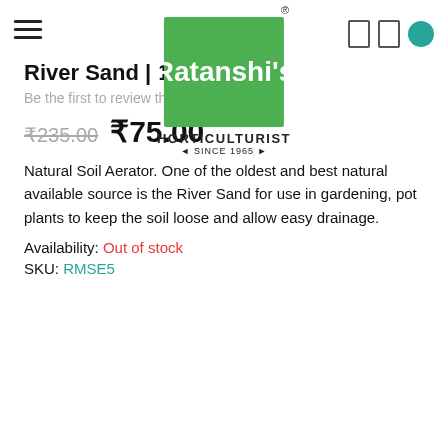[Figure (logo): Ratanshi's Horticulturist logo — green square with white script text 'Ratanshi's', below it 'HORTICULTURIST' and '* SINCE 1965 *' in black text. Registered trademark symbol top right of the green box.]
River Sand | 1kg
Be the first to review this product
₹235.00  ₹75.00
Natural Soil Aerator. One of the oldest and best natural available source is the River Sand for use in gardening, pot plants to keep the soil loose and allow easy drainage.
Availability: Out of stock
SKU: RMSE5